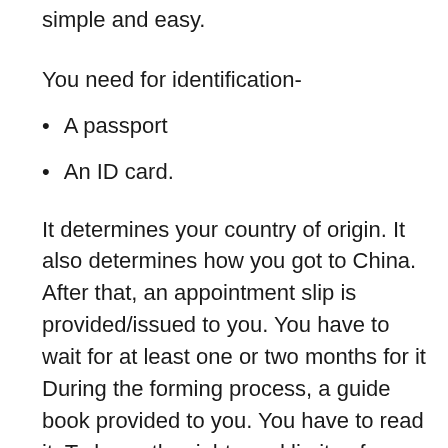simple and easy.
You need for identification-
A passport
An ID card.
It determines your country of origin. It also determines how you got to China. After that, an appointment slip is provided/issued to you. You have to wait for at least one or two months for it During the forming process, a guide book provided to you. You have to read it. To know the rights and limits of refugees in China. After that, an asylum certificate is issued to you. A certificate is a form of identification document. You can use it when you encounter a problem. On presenting your certificate to the police,